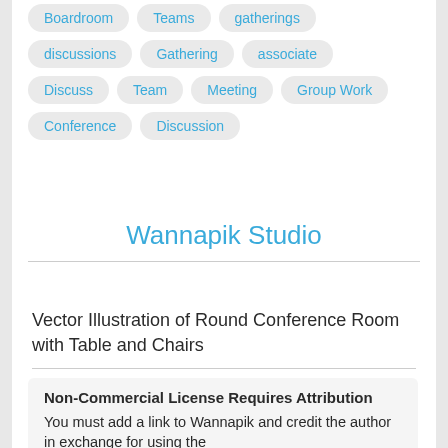Boardroom   Teams   gatherings
discussions   Gathering   associate
Discuss   Team   Meeting   Group Work
Conference   Discussion
Wannapik Studio
Vector Illustration of Round Conference Room with Table and Chairs
Non-Commercial License Requires Attribution
You must add a link to Wannapik and credit the author in exchange for using the